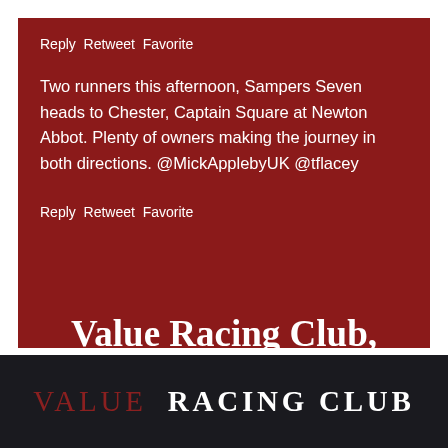Reply  Retweet  Favorite
Two runners this afternoon, Sampers Seven heads to Chester, Captain Square at Newton Abbot. Plenty of owners making the journey in both directions. @MickApplebyUK @tflacey
Reply  Retweet  Favorite
Value Racing Club, Winning Together
VALUE RACING CLUB